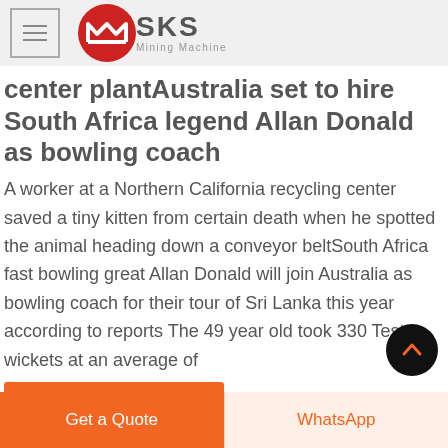SKS Mining Machine
center plantAustralia set to hire South Africa legend Allan Donald as bowling coach
A worker at a Northern California recycling center saved a tiny kitten from certain death when he spotted the animal heading down a conveyor beltSouth Africa fast bowling great Allan Donald will join Australia as bowling coach for their tour of Sri Lanka this year according to reports The 49 year old took 330 Test wickets at an average of
LIVE CHAT
Get a Quote | WhatsApp